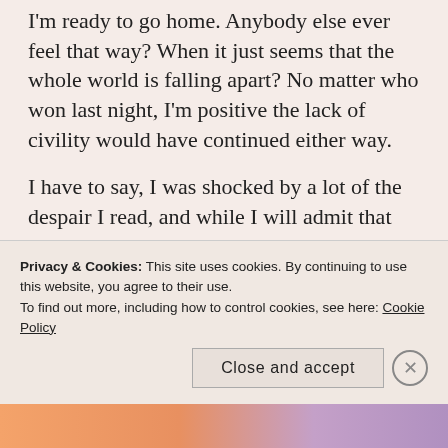I'm ready to go home. Anybody else ever feel that way? When it just seems that the whole world is falling apart? No matter who won last night, I'm positive the lack of civility would have continued either way.
I have to say, I was shocked by a lot of the despair I read, and while I will admit that I'm rather disappointed at the choice the country has made, I'm not too worried. In fact, I'm a bit excited. Because the closer our country moves toward socialism, the more our country embraces their selfishness and indolence, the closer we get to the
Privacy & Cookies: This site uses cookies. By continuing to use this website, you agree to their use.
To find out more, including how to control cookies, see here: Cookie Policy
Close and accept